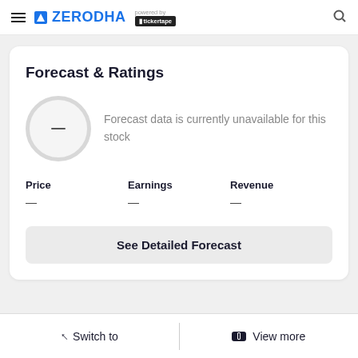ZERODHA powered by tickertape
Forecast & Ratings
Forecast data is currently unavailable for this stock
Price —
Earnings —
Revenue —
See Detailed Forecast
Switch to | View more